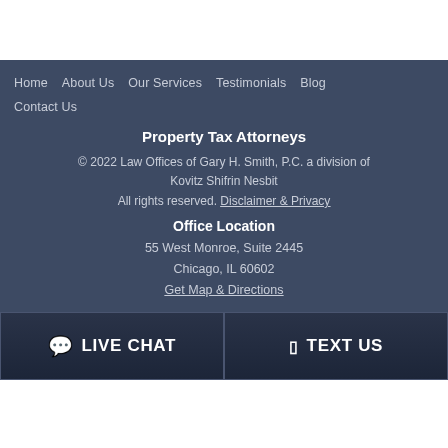Home   About Us   Our Services   Testimonials   Blog   Contact Us
Property Tax Attorneys
© 2022 Law Offices of Gary H. Smith, P.C. a division of Kovitz Shifrin Nesbit
All rights reserved. Disclaimer & Privacy
Office Location
55 West Monroe, Suite 2445
Chicago, IL 60602
Get Map & Directions
💬 LIVE CHAT   📱 TEXT US